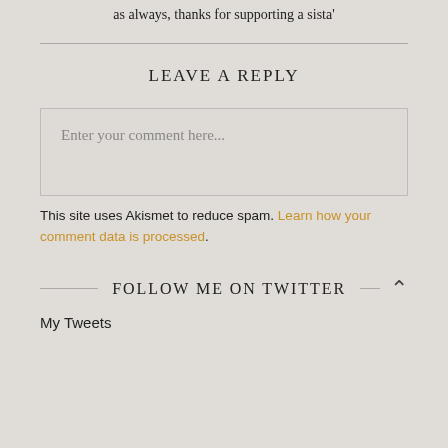as always, thanks for supporting a sista'
LEAVE A REPLY
Enter your comment here...
This site uses Akismet to reduce spam. Learn how your comment data is processed.
FOLLOW ME ON TWITTER
My Tweets